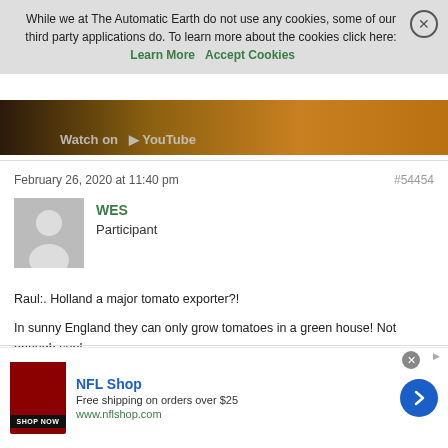While we at The Automatic Earth do not use any cookies, some of our third party applications do. To learn more about the cookies click here: Learn More   Accept Cookies
[Figure (photo): Video thumbnail with golden/dark brown color gradient, 'Watch On YouTube' text overlay]
February 26, 2020 at 11:40 pm
#54454
[Figure (photo): Generic user avatar placeholder - grey silhouette of a person on grey background]
WES
Participant
Raul:. Holland a major tomato exporter?!

In sunny England they can only grow tomatoes in a green house! Not enough sun!

Maybe England gets all the rain and Holland only sunshine?
[Figure (photo): NFL Shop advertisement banner with dark red shirt image, blue arrow button, text: NFL Shop, Free shipping on orders over $25, www.nflshop.com, SHOP NOW]